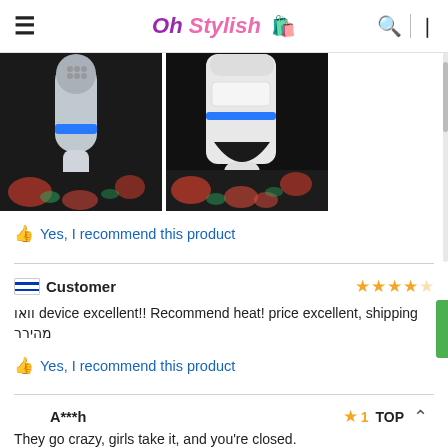Oh Stylish
[Figure (photo): Two product photos of a fabric lint shaver/defuzzer device being used on floral fabric]
Yes, I recommend this product
Customer  וואו device excellent!! Recommend heat! price excellent, shipping מהירר
Yes, I recommend this product
A***h  They go crazy, girls take it, and you're closed.